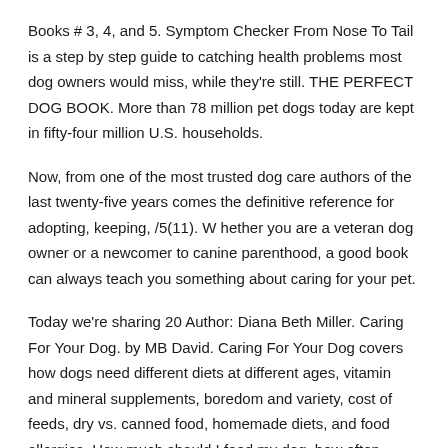Books # 3, 4, and 5. Symptom Checker From Nose To Tail is a step by step guide to catching health problems most dog owners would miss, while they're still. THE PERFECT DOG BOOK. More than 78 million pet dogs today are kept in fifty-four million U.S. households.
Now, from one of the most trusted dog care authors of the last twenty-five years comes the definitive reference for adopting, keeping, /5(11). W hether you are a veteran dog owner or a newcomer to canine parenthood, a good book can always teach you something about caring for your pet.
Today we're sharing 20 Author: Diana Beth Miller. Caring For Your Dog. by MB David. Caring For Your Dog covers how dogs need different diets at different ages, vitamin and mineral supplements, boredom and variety, cost of feeds, dry vs. canned food, homemade diets, and food allergies, How much should I feed my dog, how often should I feed my dog, and signs of Ill health.
Buy Caring for Your Dog 01 by Bruce Fogle (ISBN: ) from Amazon's Book Store. Everyday low prices and free delivery on eligible